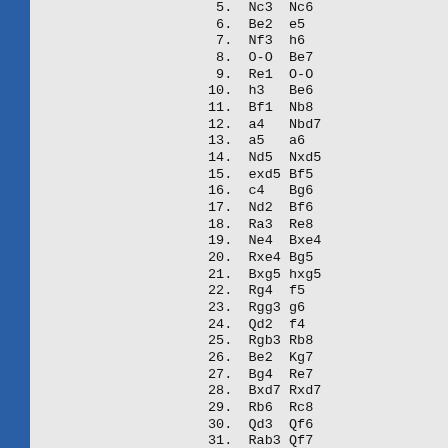5. Nc3  Nc6
6. Be2  e5
7. Nf3  h6
8. O-O  Be7
9. Re1  O-O
10. h3   Be6
11. Bf1  Nb8
12. a4   Nbd7
13. a5   a6
14. Nd5  Nxd5
15. exd5 Bf5
16. c4   Bg6
17. Nd2  Bf6
18. Ra3  Re8
19. Ne4  Bxe4
20. Rxe4 Bg5
21. Bxg5 hxg5
22. Rg4  f5
23. Rgg3 g6
24. Qd2  f4
25. Rgb3 Rb8
26. Be2  Kg7
27. Bg4  Re7
28. Bxd7 Rxd7
29. Rb6  Rc8
30. Qd3  Qf6
31. Rab3 Qf7
32. Rc3  Qf5
33. Qd1  Qe4
34. Qg4  Qf5
35. Qd1  Qe4